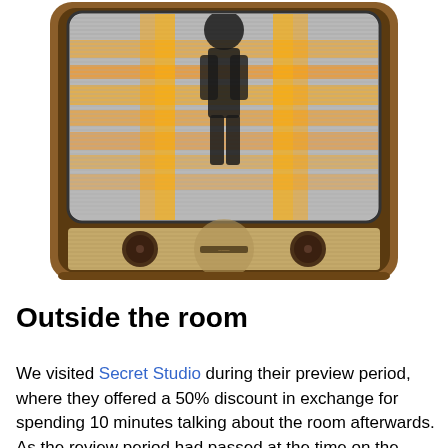[Figure (photo): A vintage retro television set with a wooden frame. The screen shows a distorted, blurry image with a silhouette figure and bright orange/yellow horizontal streaks against a grey background. The lower portion of the TV shows a fabric speaker grille in beige/tan color with two brown circular knobs on either side and a small brand label in the center.]
Outside the room
We visited Secret Studio during their preview period, where they offered a 50% discount in exchange for spending 10 minutes talking about the room afterwards. As the review period had passed at the time on the